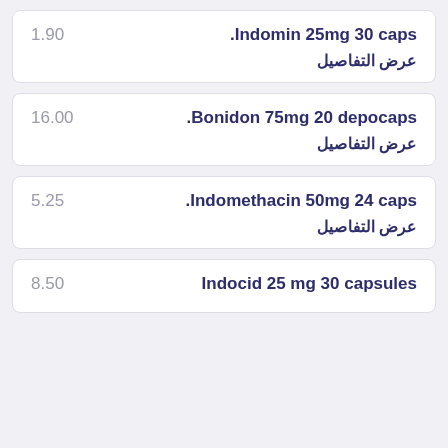Indomin 25mg 30 caps. — 1.90 — عرض التفاصيل
Bonidon 75mg 20 depocaps. — 16.00 — عرض التفاصيل
Indomethacin 50mg 24 caps. — 5.25 — عرض التفاصيل
Indocid 25 mg 30 capsules — 8.50